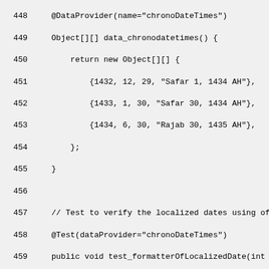[Figure (screenshot): Source code screenshot showing Java test code for HijrahDate chronology, with line numbers 448-477. Code includes @DataProvider annotation, data_chronodatetimes() method returning test data with Hijrah calendar dates, and test_formatterOfLocalizedDate method with ChronoLocalDateTime operations.]